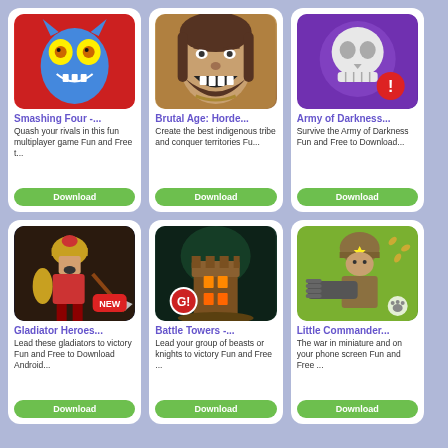[Figure (screenshot): Smashing Four game app icon - blue monster face on red background]
Smashing Four -...
Quash your rivals in this fun multiplayer game Fun and Free t...
Download
[Figure (screenshot): Brutal Age: Horde game app icon - bearded man face on brown background]
Brutal Age: Horde...
Create the best indigenous tribe and conquer territories Fu...
Download
[Figure (screenshot): Army of Darkness game app icon - skull on purple background with red exclamation badge]
Army of Darkness...
Survive the Army of Darkness Fun and Free to Download...
Download
[Figure (screenshot): Gladiator Heroes game app icon - spartan warrior with NEW badge, dark background]
Gladiator Heroes...
Lead these gladiators to victory Fun and Free to Download Android...
Download
[Figure (screenshot): Battle Towers game app icon - tall tower with glowing windows on dark background, G! badge]
Battle Towers -...
Lead your group of beasts or knights to victory Fun and Free ...
Download
[Figure (screenshot): Little Commander game app icon - soldier with minigun on green background with paw print]
Little Commander...
The war in miniature and on your phone screen Fun and Free ...
Download